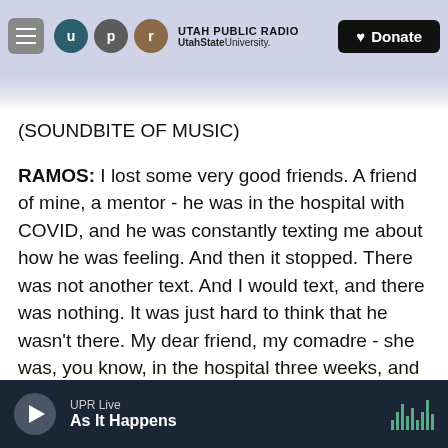Utah Public Radio | Utah State University | Donate
(SOUNDBITE OF MUSIC)
RAMOS: I lost some very good friends. A friend of mine, a mentor - he was in the hospital with COVID, and he was constantly texting me about how he was feeling. And then it stopped. There was not another text. And I would text, and there was nothing. It was just hard to think that he wasn't there. My dear friend, my comadre - she was, you know, in the hospital three weeks, and she was gone. There were just constant people I was close to. They were there, and they were gone. I miss
UPR Live | As It Happens